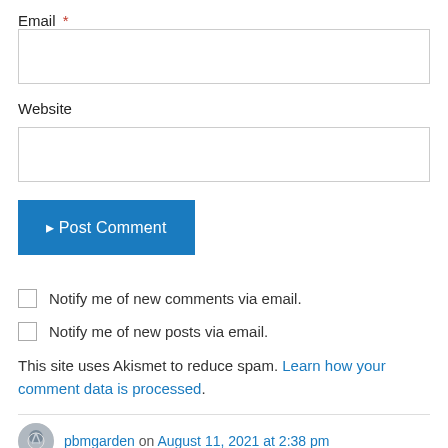Email *
Website
Post Comment
Notify me of new comments via email.
Notify me of new posts via email.
This site uses Akismet to reduce spam. Learn how your comment data is processed.
pbmgarden on August 11, 2021 at 2:38 pm